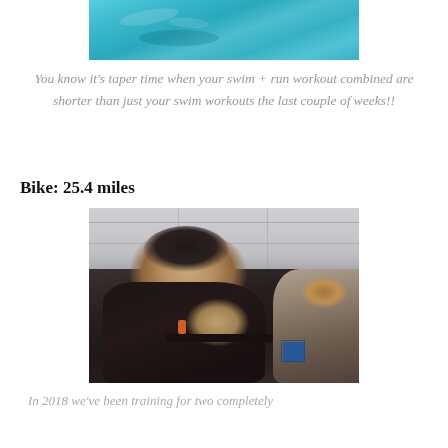[Figure (photo): Partial view of a swimming pool with teal/turquoise water, top portion of photo]
You know it's taper time when your swim + run workout combined are shorter than just your swim workouts the last couple of weeks!!
Bike: 25.4 miles
[Figure (photo): Woman smiling while riding a stationary/spin bike indoors, another person on a bike in the background, low-angle shot]
In 2018 we've been training for two completely